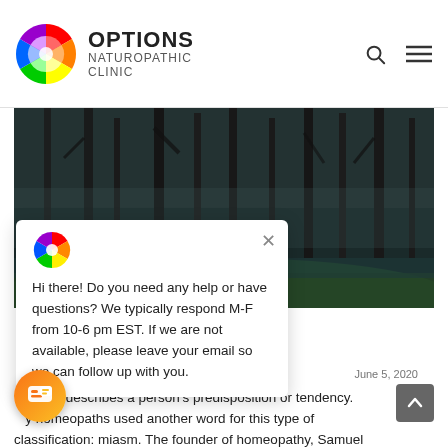[Figure (logo): Options Naturopathic Clinic logo with rainbow color wheel circle and clinic name text]
[Figure (photo): Dark moody forest/swamp photo with tall bare trees and green moss on ground, atmospheric foggy lighting]
Hi there! Do you need any help or have questions? We typically respond M-F from 10-6 pm EST. If we are not available, please leave your email so we can follow up with you.
June 5, 2020
Diathesis describes a person's predisposition or tendency. Early homeopaths used another word for this type of classification: miasm. The founder of homeopathy, Samuel